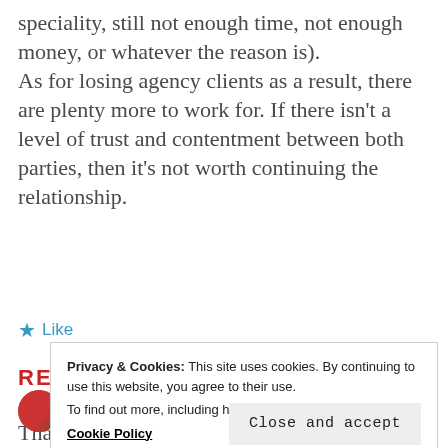speciality, still not enough time, not enough money, or whatever the reason is). As for losing agency clients as a result, there are plenty more to work for. If there isn't a level of trust and contentment between both parties, then it's not worth continuing the relationship.
★ Like
REPLY
Privacy & Cookies: This site uses cookies. By continuing to use this website, you agree to their use. To find out more, including how to control cookies, see here: Cookie Policy
Close and accept
Thank you Mikh it...